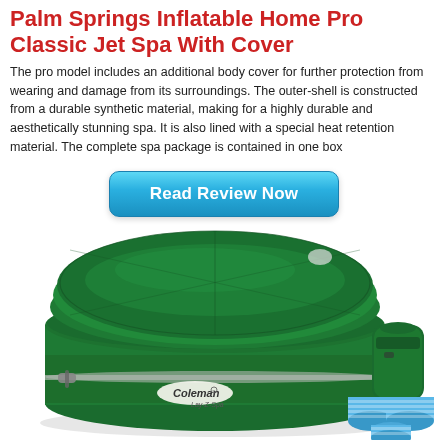Palm Springs Inflatable Home Pro Classic Jet Spa With Cover
The pro model includes an additional body cover for further protection from wearing and damage from its surroundings. The outer-shell is constructed from a durable synthetic material, making for a highly durable and aesthetically stunning spa. It is also lined with a special heat retention material. The complete spa package is contained in one box
[Figure (other): Blue rounded button with text 'Read Review Now']
[Figure (photo): Coleman Lay-Z-Spa inflatable hot tub in dark green with cover on, filter cartridges and pump unit visible on the right side]
Our Rating : ★★★★★ (empty stars)